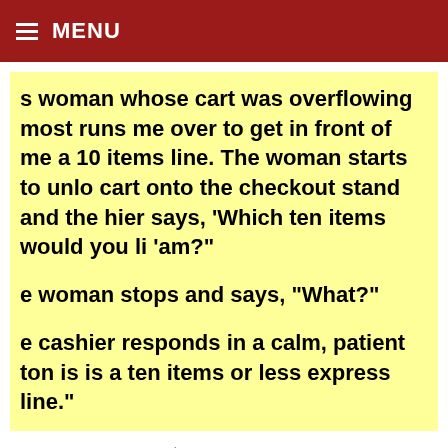≡ MENU
s woman whose cart was overflowing most runs me over to get in front of me a 10 items line. The woman starts to unlo cart onto the checkout stand and the hier says, 'Which ten items would you li 'am?'

e woman stops and says, "What?"

e cashier responds in a calm, patient ton is is a ten items or less express line."
Stories  August 7, 2021
Customer Holds up the Express Lane with Too Many Items and Gets What She Deserves